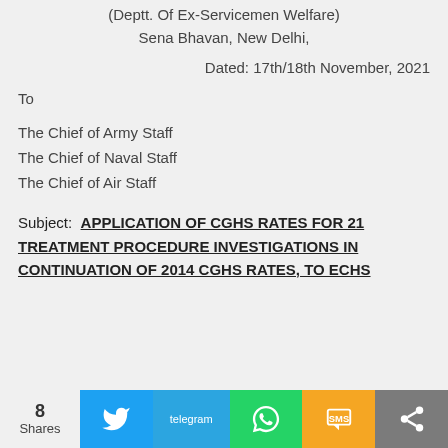(Deptt. Of Ex-Servicemen Welfare)
Sena Bhavan, New Delhi,
Dated: 17th/18th November, 2021
To
The Chief of Army Staff
The Chief of Naval Staff
The Chief of Air Staff
Subject:  APPLICATION OF CGHS RATES FOR 21 TREATMENT PROCEDURE INVESTIGATIONS IN CONTINUATION OF 2014 CGHS RATES, TO ECHS